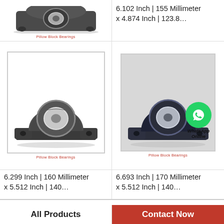[Figure (photo): Partial top view of pillow block bearing product]
Pillow Block Bearings
6.693 Inch | 170 Millimeter x 5.512 Inch | 140…
6.102 Inch | 155 Millimeter x 4.874 Inch | 123.8…
[Figure (photo): Pillow block bearing product image - left]
Pillow Block Bearings
[Figure (photo): Pillow block bearing product image - right with WhatsApp Online overlay]
Pillow Block Bearings
6.299 Inch | 160 Millimeter x 5.512 Inch | 140…
6.693 Inch | 170 Millimeter x 5.512 Inch | 140…
All Products
Contact Now